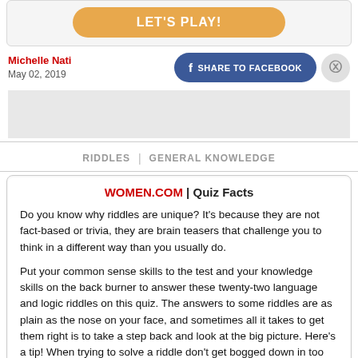[Figure (other): Orange rounded button labeled LET'S PLAY! inside a light gray card]
Michelle Nati
May 02, 2019
[Figure (other): Social sharing buttons: blue Facebook Share button and gray Pinterest circle button]
[Figure (other): Gray advertisement area placeholder]
RIDDLES | GENERAL KNOWLEDGE
WOMEN.COM | Quiz Facts
Do you know why riddles are unique? It's because they are not fact-based or trivia, they are brain teasers that challenge you to think in a different way than you usually do.
Put your common sense skills to the test and your knowledge skills on the back burner to answer these twenty-two language and logic riddles on this quiz. The answers to some riddles are as plain as the nose on your face, and sometimes all it takes to get them right is to take a step back and look at the big picture. Here's a tip! When trying to solve a riddle don't get bogged down in too many specifics. Just look at the